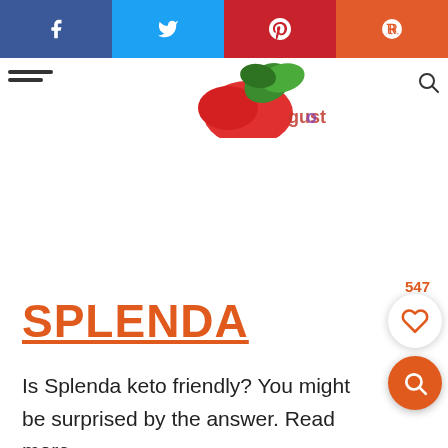[Figure (screenshot): Social share bar with Facebook (blue), Twitter (cyan), Pinterest (red), Reddit (orange) buttons each showing platform icons]
[Figure (photo): Partial header image showing food items (tomatoes, green herbs) against white background with partial logo/text]
547
SPLENDA
Is Splenda keto friendly? You might be surprised by the answer. Read more